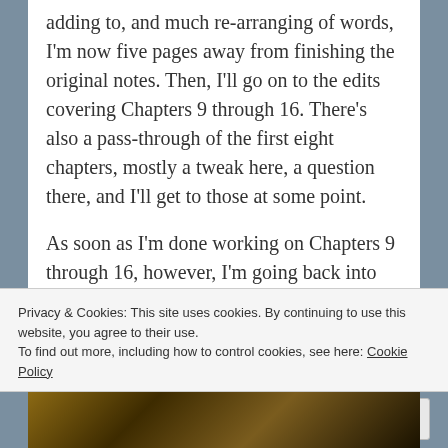adding to, and much re-arranging of words, I'm now five pages away from finishing the original notes. Then, I'll go on to the edits covering Chapters 9 through 16. There's also a pass-through of the first eight chapters, mostly a tweak here, a question there, and I'll get to those at some point.
As soon as I'm done working on Chapters 9 through 16, however, I'm going back into the thick of it and write on. There are some elements that I want to add in for some of the secondary characters and a new skill for the Narrator. Bits that need to be established early on in the story also have to be done (continuity is the thing, here), as well as
Privacy & Cookies: This site uses cookies. By continuing to use this website, you agree to their use.
To find out more, including how to control cookies, see here: Cookie Policy
Close and accept
[Figure (photo): Bottom strip showing a dark brownish/golden image, partially visible at the very bottom of the page]